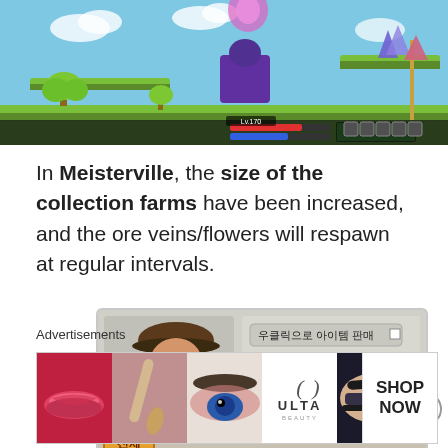[Figure (screenshot): MapleStory game screenshot showing a side-scrolling platformer level with characters, floating platforms, trees, and a UI bar at the bottom with HP/MP bars and item icons]
In Meisterville, the size of the collection farms have been increased, and the ore veins/flowers will respawn at regular intervals.
[Figure (screenshot): MapleStory in-game shop NPC interface showing a Korean merchant character with buttons labeled in Korean (우클릭으로 아이템 판매, 상점나가기, 아이템사기) and a tab button (전체)]
Advertisements
[Figure (photo): Ulta Beauty advertisement strip showing makeup close-ups: red lips, makeup brush, eye with eyeshadow, Ulta logo, dramatic eye makeup, and SHOP NOW text]